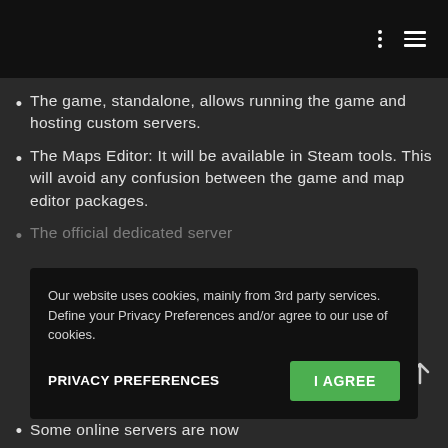The game, standalone, allows running the game and hosting custom servers.
The Maps Editor: It will be available in Steam tools. This will avoid any confusion between the game and map editor packages.
The official dedicated server … one uses less RAM (less than 500MB, less space on … (less than one GB), a … CPU.
Our website uses cookies, mainly from 3rd party services. Define your Privacy Preferences and/or agree to our use of cookies.
PRIVACY PREFERENCES
I AGREE
Some online servers are now